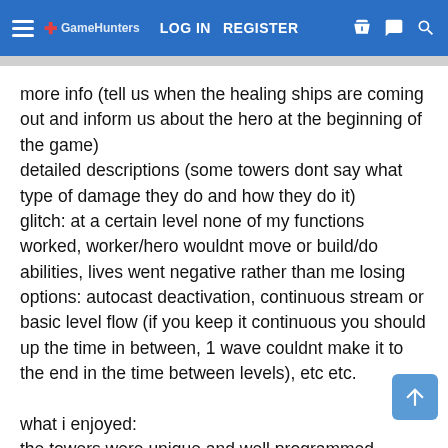LOG IN  REGISTER
more info (tell us when the healing ships are coming out and inform us about the hero at the beginning of the game)
detailed descriptions (some towers dont say what type of damage they do and how they do it)
glitch: at a certain level none of my functions worked, worker/hero wouldnt move or build/do abilities, lives went negative rather than me losing
options: autocast deactivation, continuous stream or basic level flow (if you keep it continuous you should up the time in between, 1 wave couldnt make it to the end in the time between levels), etc etc.

what i enjoyed:
the towers were unique and well programmed
the level balance seemed very strong (early levels were easy, late ones put me on my heals)
overall the game was a ton of fun and i would love to see it hit a final version.